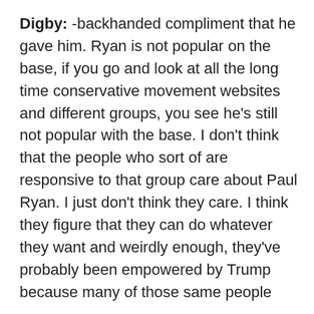Digby: -backhanded compliment that he gave him. Ryan is not popular on the base, if you go and look at all the long time conservative movement websites and different groups, you see he's still not popular with the base. I don't think that the people who sort of are responsive to that group care about Paul Ryan. I just don't think they care. I think they figure that they can do whatever they want and weirdly enough, they've probably been empowered by Trump because many of those same people were Trump voters. These are the baby piranhas. They're, as you say, the rookies. Many of whom, I'm talking about the voters here, who are ... According to some of the stuff that I've been reading over the holiday break, the Trump voters are absolutely